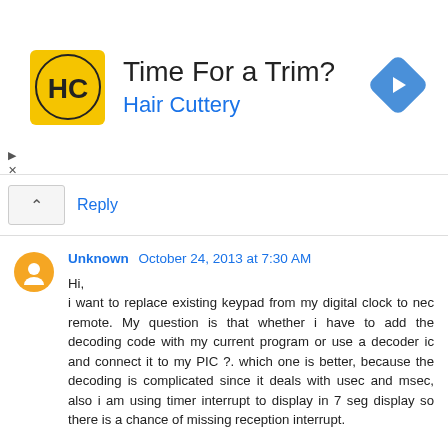[Figure (other): Advertisement banner for Hair Cuttery with yellow logo, text 'Time For a Trim?' and 'Hair Cuttery', and a blue diamond navigation icon.]
Reply
Unknown October 24, 2013 at 7:30 AM
Hi,
i want to replace existing keypad from my digital clock to nec remote. My question is that whether i have to add the decoding code with my current program or use a decoder ic and connect it to my PIC ?. which one is better, because the decoding is complicated since it deals with usec and msec, also i am using timer interrupt to display in 7 seg display so there is a chance of missing reception interrupt.

please reply,

thanks and regards
Nikhil